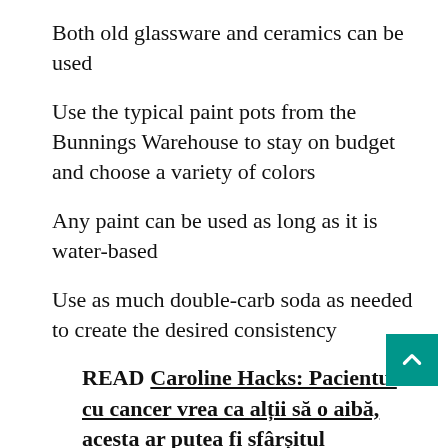Both old glassware and ceramics can be used
Use the typical paint pots from the Bunnings Warehouse to stay on budget and choose a variety of colors
Any paint can be used as long as it is water-based
Use as much double-carb soda as needed to create the desired consistency
READ  Caroline Hacks: Pacientul cu cancer vrea ca alții să o aibă, acesta ar putea fi sfârșitul
Paint the inside, the outside, and the bottom of the vase, too
Make sure the paint is completely dry before adding another coat of paint, or it will peel off